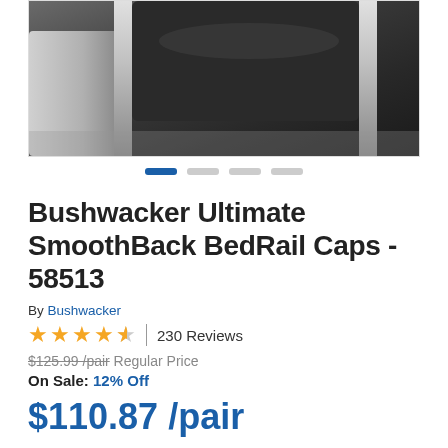[Figure (photo): Close-up photo of Bushwacker Ultimate SmoothBack BedRail Caps product showing dark textured surface with chrome/silver accents]
Bushwacker Ultimate SmoothBack BedRail Caps - 58513
By Bushwacker
★★★★☆ | 230 Reviews
$125.99 /pair Regular Price
On Sale: 12% Off
$110.87 /pair